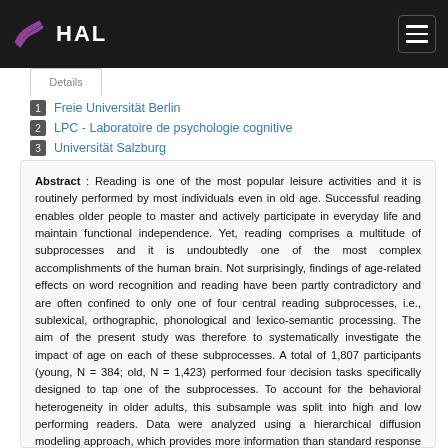HAL
1 Freie Universität Berlin
2 LPC - Laboratoire de psychologie cognitive
3 Universität Salzburg
Abstract : Reading is one of the most popular leisure activities and it is routinely performed by most individuals even in old age. Successful reading enables older people to master and actively participate in everyday life and maintain functional independence. Yet, reading comprises a multitude of subprocesses and it is undoubtedly one of the most complex accomplishments of the human brain. Not surprisingly, findings of age-related effects on word recognition and reading have been partly contradictory and are often confined to only one of four central reading subprocesses, i.e., sublexical, orthographic, phonological and lexico-semantic processing. The aim of the present study was therefore to systematically investigate the impact of age on each of these subprocesses. A total of 1,807 participants (young, N = 384; old, N = 1,423) performed four decision tasks specifically designed to tap one of the subprocesses. To account for the behavioral heterogeneity in older adults, this subsample was split into high and low performing readers. Data were analyzed using a hierarchical diffusion modeling approach, which provides more information than standard response time/accuracy analyses. Taking into account incorrect and correct response times, their